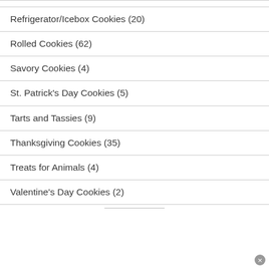Refrigerator/Icebox Cookies (20)
Rolled Cookies (62)
Savory Cookies (4)
St. Patrick's Day Cookies (5)
Tarts and Tassies (9)
Thanksgiving Cookies (35)
Treats for Animals (4)
Valentine's Day Cookies (2)